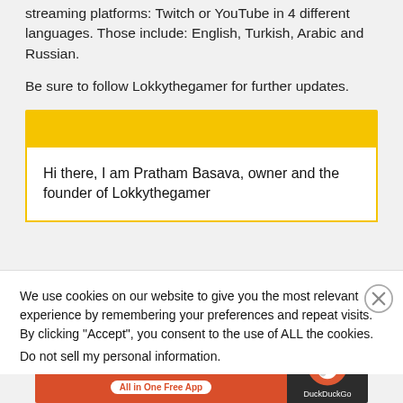streaming platforms: Twitch or YouTube in 4 different languages. Those include: English, Turkish, Arabic and Russian.
Be sure to follow Lokkythegamer for further updates.
[Figure (other): Yellow advertisement/banner bar placeholder]
Hi there, I am Pratham Basava, owner and the founder of Lokkythegamer
We use cookies on our website to give you the most relevant experience by remembering your preferences and repeat visits. By clicking “Accept”, you consent to the use of ALL the cookies.
Do not sell my personal information.
Advertisements
[Figure (screenshot): DuckDuckGo advertisement banner: orange left side with text 'Search, browse, and email with more privacy. All in One Free App', dark right side with DuckDuckGo logo and duck icon.]